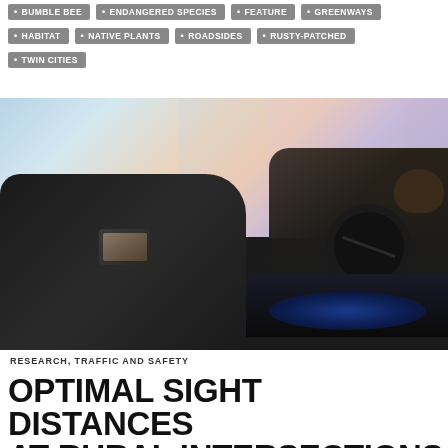BUMBLE BEE
ENDANGERED SPECIES
FEATURE
GREENWAYS
HABITAT
NATIVE PLANTS
ROADSIDES
RUSTY-PATCHED
TWIN CITIES
[Figure (photo): Driving simulator screenshot showing interior of a dark car with a driver at the wheel, looking out at a simulated rural road intersection scene with green fields, trees, and a sky with scattered clouds rendered in a computer graphics style.]
RESEARCH, TRAFFIC AND SAFETY
OPTIMAL SIGHT DISTANCES AT RURAL INTERSECTIONS